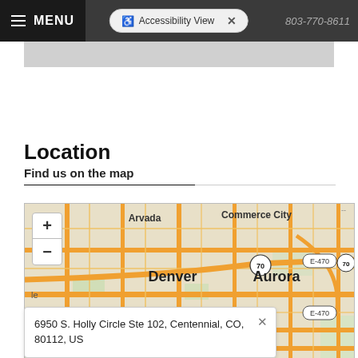MENU | Accessibility View | 803-770-8611
Location
Find us on the map
[Figure (map): Interactive street map showing Denver metro area including Arvada, Commerce City, Denver, Aurora, Lakewood. Shows zoom controls (+/-). Map centered on Denver/Aurora area with highway markers for I-70 and E-470.]
6950 S. Holly Circle Ste 102, Centennial, CO, 80112, US